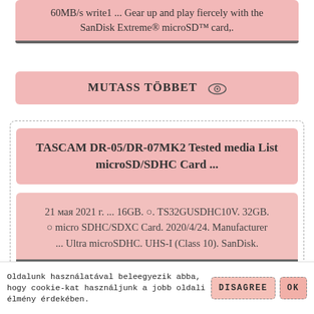60MB/s write1 ... Gear up and play fiercely with the SanDisk Extreme® microSD™ card,.
MUTASS TÖBBET
TASCAM DR-05/DR-07MK2 Tested media List microSD/SDHC Card ...
21 мая 2021 г. ... 16GB. ○. TS32GUSDHC10V. 32GB. ○ micro SDHC/SDXC Card. 2020/4/24. Manufacturer ... Ultra microSDHC. UHS-I (Class 10). SanDisk.
MUTASS TÖBBET
Oldalunk használatával beleegyezik abba, hogy cookie-kat használjunk a jobb oldali élmény érdekében.
DISAGREE
OK